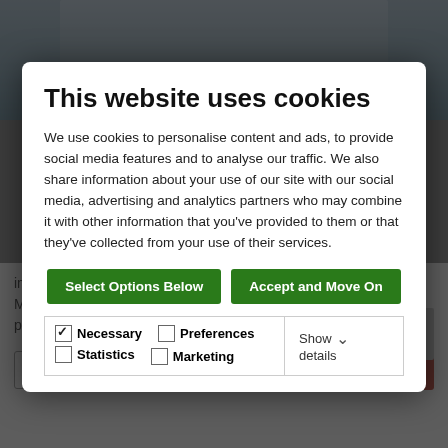[Figure (screenshot): Background photo of a residential house/property partially visible behind cookie consent modal]
This website uses cookies
We use cookies to personalise content and ads, to provide social media features and to analyse our traffic. We also share information about your use of our site with our social media, advertising and analytics partners who may combine it with other information that you've provided to them or that they've collected from your use of their services.
Select Options Below | Accept and Move On
Necessary  Preferences  Statistics  Marketing  Show details
impressive family home in the popular pocket of Firhouse, No. 95 Monalea Grove. Presented in excellent condition throughout this property has been we...
Save | More details »